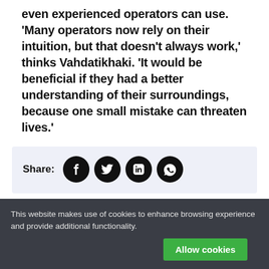even experienced operators can use. 'Many operators now rely on their intuition, but that doesn't always work,' thinks Vahdatikhaki. 'It would be beneficial if they had a better understanding of their surroundings, because one small mistake can threaten lives.'
Share:
RECOMMENDED
This website makes use of cookies to enhance browsing experience and provide additional functionality.